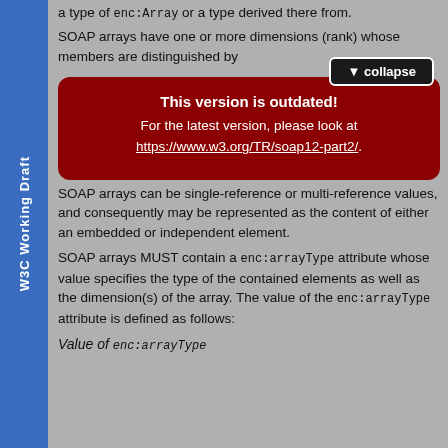W3C Working Draft
a type of enc:Array or a type derived there from.
SOAP arrays have one or more dimensions (rank) whose members are distinguished by
[Figure (screenshot): Red overlay popup with 'This version is outdated!' warning and collapse button, containing link to https://www.w3.org/TR/soap12-part2/]
SOAP arrays can be single-reference or multi-reference values, and consequently may be represented as the content of either an embedded or independent element.
SOAP arrays MUST contain a enc:arrayType attribute whose value specifies the type of the contained elements as well as the dimension(s) of the array. The value of the enc:arrayType attribute is defined as follows:
Value of enc:arrayType